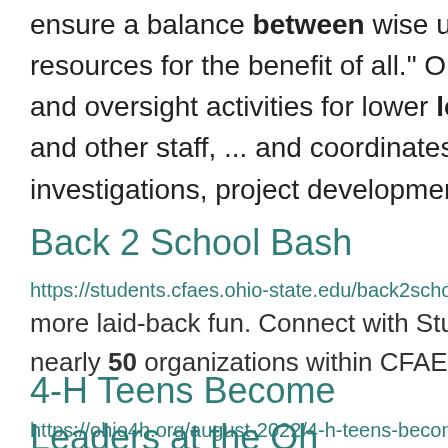ensure a balance between wise use and prot resources for the benefit of all." Our ... enviro and oversight activities for lower level enviro and other staff, ... and coordinates lower leve investigations, project development, project .
Back 2 School Bash
https://students.cfaes.ohio-state.edu/back2schoolba more laid-back fun. Connect with Student org nearly 50 organizations within CFAES, ...
4-H Teens Become Leaders at the Oh
https://ohio4h.org/august-2022/4-h-teens-become- in 4-H at the state level. “It’s one of those doc